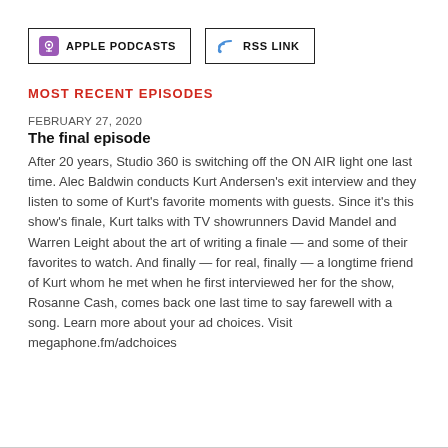[Figure (other): Apple Podcasts button with purple podcast icon and border]
[Figure (other): RSS Link button with blue RSS icon and border]
MOST RECENT EPISODES
FEBRUARY 27, 2020
The final episode
After 20 years, Studio 360 is switching off the ON AIR light one last time. Alec Baldwin conducts Kurt Andersen's exit interview and they listen to some of Kurt's favorite moments with guests. Since it's this show's finale, Kurt talks with TV showrunners David Mandel and Warren Leight about the art of writing a finale — and some of their favorites to watch. And finally — for real, finally — a longtime friend of Kurt whom he met when he first interviewed her for the show, Rosanne Cash, comes back one last time to say farewell with a song. Learn more about your ad choices. Visit megaphone.fm/adchoices